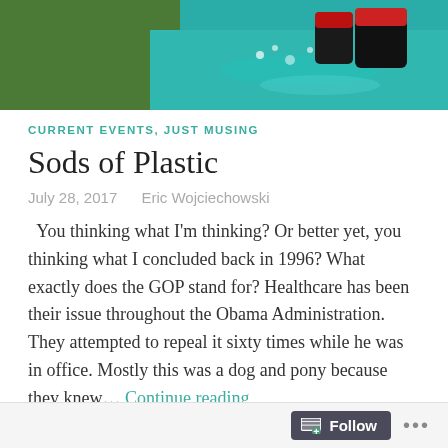[Figure (photo): Top portion of a blog page showing a photo of someone sliding on artificial turf/plastic grass with water, wearing dark boots with red accents]
CURRENT EVENTS, JUST MUSING
Sods of Plastic
July 28, 2017   Eric Wojciechowski
You thinking what I'm thinking? Or better yet, you thinking what I concluded back in 1996? What exactly does the GOP stand for? Healthcare has been their issue throughout the Obama Administration. They attempted to repeal it sixty times while he was in office. Mostly this was a dog and pony because they knew… Continue reading
Tagged GOP, Harry Browne, Healthcare, Libertarian
Follow ...